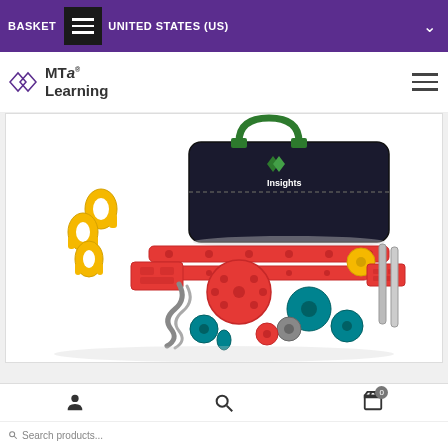BASKET | UNITED STATES (US)
[Figure (logo): MTa Learning logo with geometric diamond/cube icon and text 'MTa Learning']
[Figure (photo): MTa Insights product kit showing a black bag with green handles labeled 'MTa Insights', surrounded by various colored components including yellow connectors, red bars, red and teal discs, gray rope, and metal rods spread on a white surface.]
Search products...